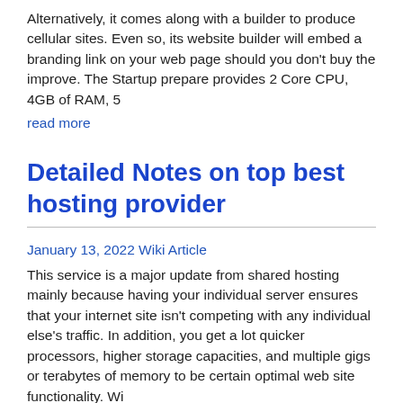Alternatively, it comes along with a builder to produce cellular sites. Even so, its website builder will embed a branding link on your web page should you don't buy the improve. The Startup prepare provides 2 Core CPU, 4GB of RAM, 5
read more
Detailed Notes on top best hosting provider
January 13, 2022 Wiki Article
This service is a major update from shared hosting mainly because having your individual server ensures that your internet site isn't competing with any individual else's traffic. In addition, you get a lot quicker processors, higher storage capacities, and multiple gigs or terabytes of memory to be certain optimal web site functionality. Wi
read more
5 Simple Statements About top 5